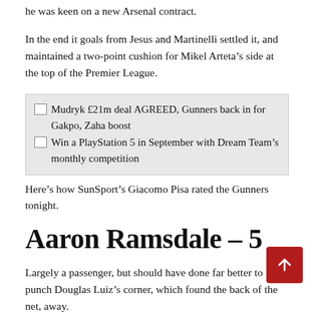he was keen on a new Arsenal contract.
In the end it goals from Jesus and Martinelli settled it, and maintained a two-point cushion for Mikel Arteta’s side at the top of the Premier League.
[Figure (other): Promotional link box with two items: 'Mudryk £21m deal AGREED, Gunners back in for Gakpo, Zaha boost' and 'Win a PlayStation 5 in September with Dream Team’s monthly competition']
Here’s how SunSport’s Giacomo Pisa rated the Gunners tonight.
Aaron Ramsdale – 5
Largely a passenger, but should have done far better to punch Douglas Luiz’s corner, which found the back of the net, away.
On the ball the stopper was good, playing out quickly with his hands